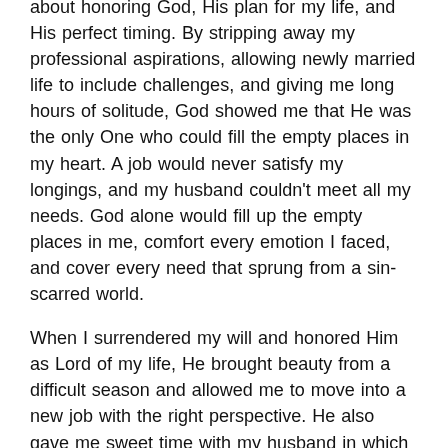about honoring God, His plan for my life, and His perfect timing. By stripping away my professional aspirations, allowing newly married life to include challenges, and giving me long hours of solitude, God showed me that He was the only One who could fill the empty places in my heart. A job would never satisfy my longings, and my husband couldn't meet all my needs. God alone would fill up the empty places in me, comfort every emotion I faced, and cover every need that sprung from a sin-scarred world.
When I surrendered my will and honored Him as Lord of my life, He brought beauty from a difficult season and allowed me to move into a new job with the right perspective. He also gave me sweet time with my husband in which we just enjoyed each other rather than me expecting him to understand my emotions and meet my every need.